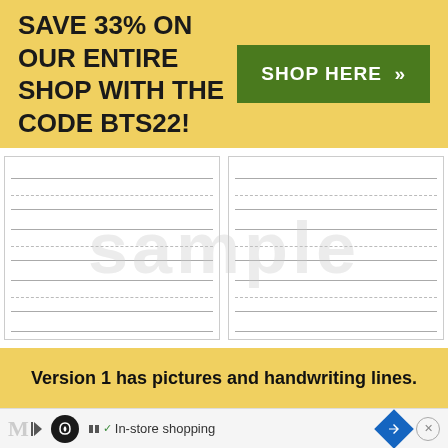SAVE 33% ON OUR ENTIRE SHOP WITH THE CODE BTS22!
SHOP HERE >>
[Figure (other): Two-column sample worksheet with handwriting lines (solid and dashed) and 'sample' watermark. Footer shows '© 2015 The Measured Mom ®' with page numbers 33 and 34.]
Version 1 has pictures and handwriting lines.
[Figure (other): Ad bar at bottom with loop icon, play/stop icons, checkmark, 'In-store shopping' label, blue diamond navigation icon, and close button.]